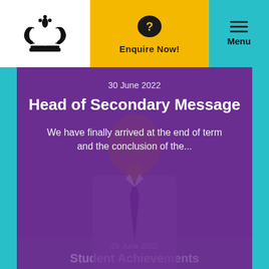[Figure (logo): School logo — ornate crown/wings/book emblem in black]
Enquire Now!
Menu
30 June 2022
Head of Secondary Message
We have finally arrived at the end of term and the conclusion of the...
29 June 2022
Student Achievements